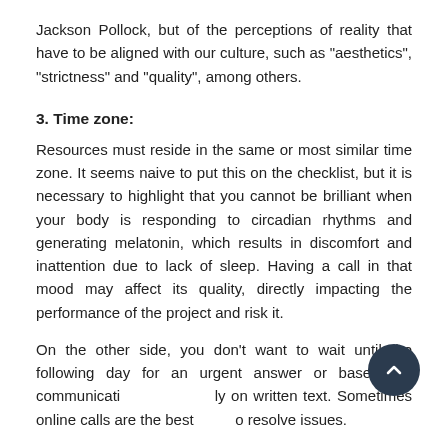Jackson Pollock, but of the perceptions of reality that have to be aligned with our culture, such as "aesthetics", "strictness" and "quality", among others.
3. Time zone:
Resources must reside in the same or most similar time zone. It seems naive to put this on the checklist, but it is necessary to highlight that you cannot be brilliant when your body is responding to circadian rhythms and generating melatonin, which results in discomfort and inattention due to lack of sleep. Having a call in that mood may affect its quality, directly impacting the performance of the project and risk it.
On the other side, you don't want to wait until the following day for an urgent answer or base your communication only on written text. Sometimes online calls are the best to resolve issues.